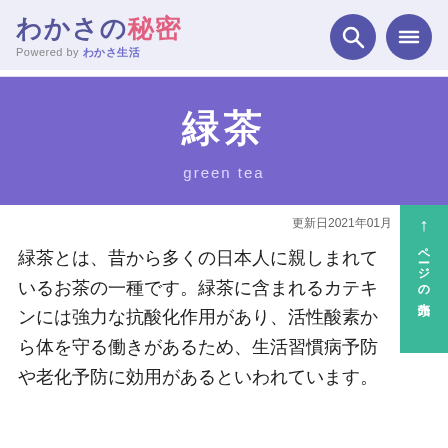わかさの秘密 Powered by わかさ生活
緑茶
green tea
更新日2021年01月
緑茶とは、昔から多くの日本人に親しまれているお茶の一種です。緑茶に含まれるカテキンには強力な抗酸化作用があり、活性酸素から体を守る働きがあるため、生活習慣病予防や老化予防に効用があるといわれています。